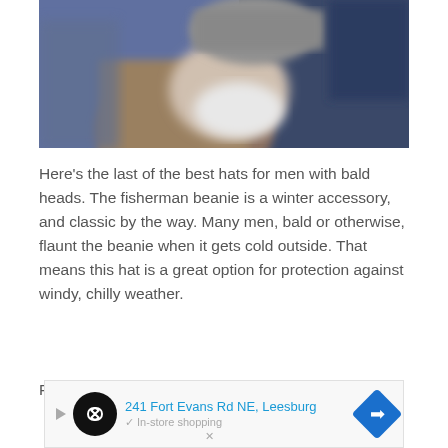[Figure (photo): A blurred photo of a person wearing a tan/brown winter jacket and a gray fisherman beanie hat, with a white face mask. Background shows other people in cold weather.]
Here's the last of the best hats for men with bald heads. The fisherman beanie is a winter accessory, and classic by the way. Many men, bald or otherwise, flaunt the beanie when it gets cold outside. That means this hat is a great option for protection against windy, chilly weather.
Fisherman beanie, for the most part, is made
[Figure (other): Advertisement bar showing '241 Fort Evans Rd NE, Leesburg' with a circular black logo with infinity symbol, a blue navigation arrow icon, and 'In-store shopping' text.]